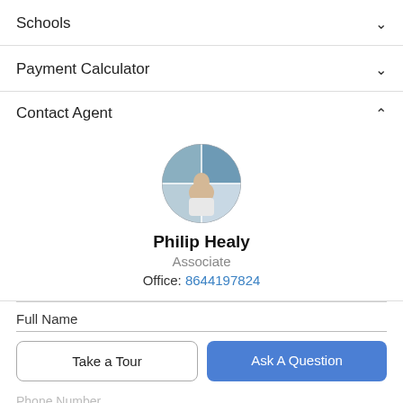Schools
Payment Calculator
Contact Agent
[Figure (photo): Circular profile photo of agent Philip Healy]
Philip Healy
Associate
Office: 8644197824
Full Name
Take a Tour
Ask A Question
Phone Number